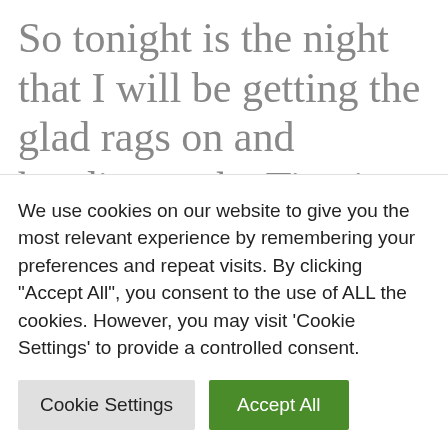So tonight is the night that I will be getting the glad rags on and heading to the Titanic Hotel for the first year of Northern Ireland's Make-Up & Beauty Awards 2019. I was absolutely delighted to find out that I had been nominated and even more
We use cookies on our website to give you the most relevant experience by remembering your preferences and repeat visits. By clicking "Accept All", you consent to the use of ALL the cookies. However, you may visit 'Cookie Settings' to provide a controlled consent.